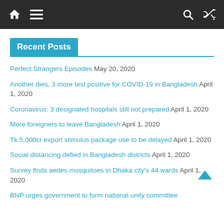Navigation bar with home, menu, search, and shuffle icons
Recent Posts
Perfect Strangers Episodes May 20, 2020
Another dies, 3 more test positive for COVID-19 in Bangladesh April 1, 2020
Coronavirus: 3 designated hospitals still not prepared April 1, 2020
More foreigners to leave Bangladesh April 1, 2020
Tk 5,000cr export stimulus package use to be delayed April 1, 2020
Social distancing defied in Bangladesh districts April 1, 2020
Survey finds aedes mosquitoes in Dhaka city's 44 wards April 1, 2020
BNP urges government to form national unity committee